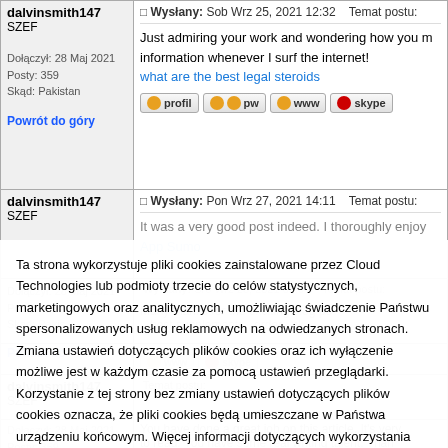| User | Post |
| --- | --- |
| dalvinsmith147
SZEF

Dołączył: 28 Maj 2021
Posty: 359
Skąd: Pakistan | Wysłany: Sob Wrz 25, 2021 12:32   Temat postu:

Just admiring your work and wondering how you m... information whenever I surf the internet!
what are the best legal steroids |
| dalvinsmith147
SZEF

Dołączył: 28 Maj 2021
Posty: 359
Skąd: Pakistan | Wysłany: Pon Wrz 27, 2021 14:11   Temat postu:

It was a very good post indeed. I thoroughly enjoy...
App Sumo |
| dalvinsmith147
SZEF

Dołączył: 28 Maj 2021
Posty: 359
Skąd: Pakistan | Wysłany: Śro Wrz 28, 2021 09:04   Temat postu:

Many thanks for the exciting blog po...
...best supplements...order...nk |
| dalvinsmith147
SZEF

Dołączył: 28 Maj 2021
Posty: 359
Skąd: Pakistan | Temat postu:

You have done a great job on this article. It's very ... to read. You have some real writing talent. Than... |
Ta strona wykorzystuje pliki cookies zainstalowane przez Cloud Technologies lub podmioty trzecie do celów statystycznych, marketingowych oraz analitycznych, umożliwiając świadczenie Państwu spersonalizowanych usług reklamowych na odwiedzanych stronach. Zmiana ustawień dotyczących plików cookies oraz ich wyłączenie możliwe jest w każdym czasie za pomocą ustawień przeglądarki. Korzystanie z tej strony bez zmiany ustawień dotyczących plików cookies oznacza, że pliki cookies będą umieszczane w Państwa urządzeniu końcowym. Więcej informacji dotyczących wykorzystania plików cookies znajdziecie Państwo w naszej Polityce Prywatności.